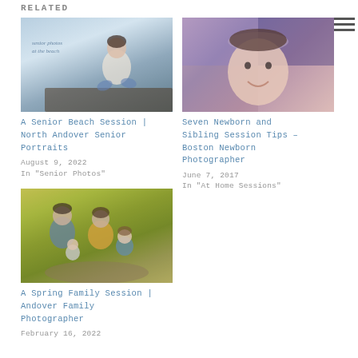RELATED
[Figure (photo): Young woman sitting on a dock or beach surface, wearing white top and jeans, with water/sky background. Text overlay reads 'senior photos at the beach']
A Senior Beach Session | North Andover Senior Portraits
August 9, 2022
In "Senior Photos"
[Figure (photo): Young girl with a headband, close-up portrait with colorful blurred background (purple/blue/pink blocks)]
Seven Newborn and Sibling Session Tips – Boston Newborn Photographer
June 7, 2017
In "At Home Sessions"
[Figure (photo): Family of four (parents and two young children) sitting outdoors among yellow wildflowers]
A Spring Family Session | Andover Family Photographer
February 16, 2022